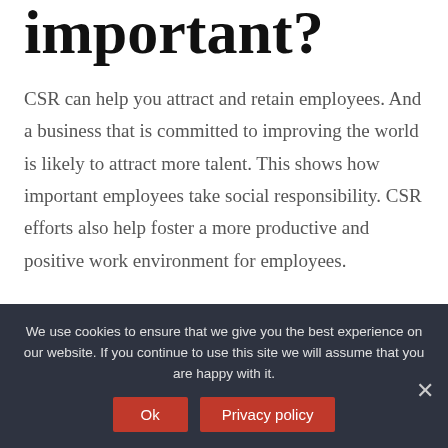important?
CSR can help you attract and retain employees. And a business that is committed to improving the world is likely to attract more talent. This shows how important employees take social responsibility. CSR efforts also help foster a more productive and positive work environment for employees.
How does CSR add value to a company?
We use cookies to ensure that we give you the best experience on our website. If you continue to use this site we will assume that you are happy with it.
Ok
Privacy policy